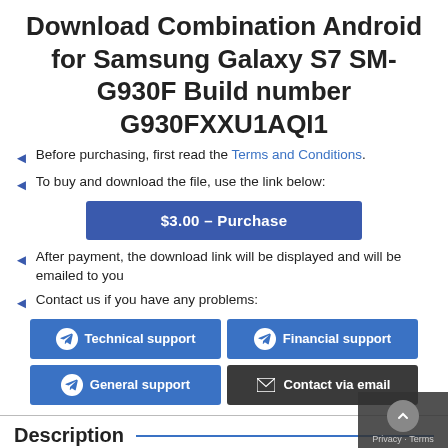Download Combination Android for Samsung Galaxy S7 SM-G930F Build number G930FXXU1AQI1
Before purchasing, first read the Terms and Conditions.
To buy and download the file, use the link below:
[Figure (other): $3.00 – Purchase button (blue)]
After payment, the download link will be displayed and will be emailed to you
Contact us if you have any problems:
[Figure (infographic): Support buttons grid: Technical support (blue, Telegram icon), Financial support (blue, Telegram icon), General support (blue, Telegram icon), Contact via email (dark, email icon)]
Description